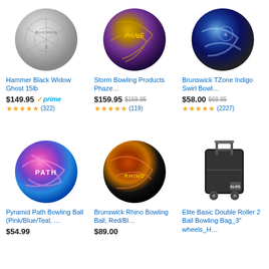[Figure (photo): Hammer Black Widow Ghost bowling ball - silver/white colored]
Hammer Black Widow Ghost 15lb
$149.95 prime
★★★★★ (322)
[Figure (photo): Storm Bowling Products Phaze bowling ball - gold/purple/blue swirl]
Storm Bowling Products Phaze…
$159.95 $169.95
★★★★★ (119)
[Figure (photo): Brunswick TZone Indigo Swirl bowling ball - blue/black/silver]
Brunswick TZone Indigo Swirl Bowl…
$58.00 $69.95
★★★★★ (2227)
[Figure (photo): Pyramid Path bowling ball - pink/blue/teal swirl]
Pyramid Path Bowling Ball (Pink/Blue/Teal, …
$54.99
[Figure (photo): Brunswick Rhino bowling ball - red/black/gold swirl]
Brunswick Rhino Bowling Ball, Red/Bl…
$89.00
[Figure (photo): Elite Basic Double Roller 2 Ball Bowling Bag with 3 inch wheels - black rolling bag]
Elite Basic Double Roller 2 Ball Bowling Bag_3" wheels_H…